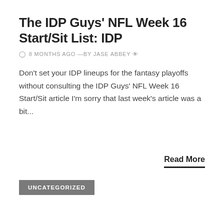The IDP Guys’ NFL Week 16 Start/Sit List: IDP
© 8 MONTHS AGO —BY JASE ABBEY 👁
Don’t set your IDP lineups for the fantasy playoffs without consulting the IDP Guys’ NFL Week 16 Start/Sit article I’m sorry that last week’s article was a bit...
Read More
UNCATEGORIZED